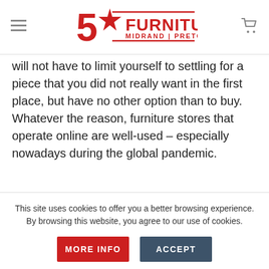5 Star Furniture – Midrand | Pretoria
will not have to limit yourself to settling for a piece that you did not really want in the first place, but have no other option than to buy. Whatever the reason, furniture stores that operate online are well-used – especially nowadays during the global pandemic.
This site uses cookies to offer you a better browsing experience. By browsing this website, you agree to our use of cookies.